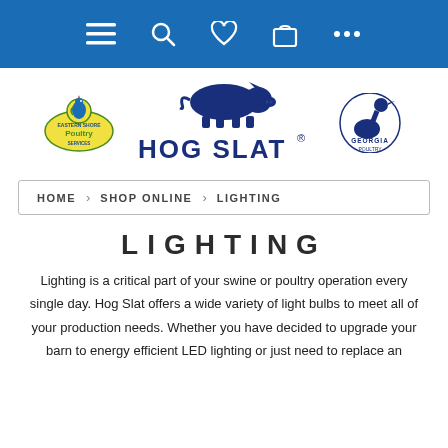Navigation bar with menu, search, wishlist, cart, and more icons
[Figure (logo): Eastern Shore Poultry Services logo (left), Hog Slat logo with pig graphic (center), Georgia Poultry Equipment Co. logo (right)]
HOME > SHOP ONLINE > LIGHTING
LIGHTING
Lighting is a critical part of your swine or poultry operation every single day. Hog Slat offers a wide variety of light bulbs to meet all of your production needs. Whether you have decided to upgrade your barn to energy efficient LED lighting or just need to replace an